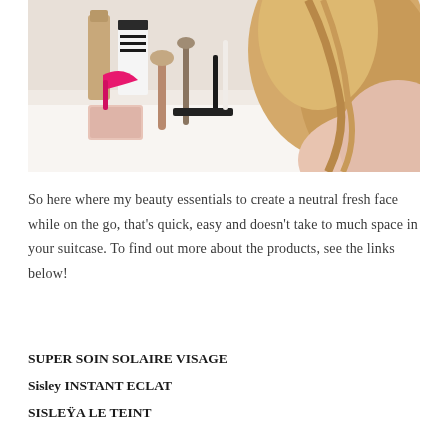[Figure (photo): Flat lay of makeup products and brushes on a white surface, with a blonde woman in a pink top looking down at them from the right side of frame.]
So here where my beauty essentials to create a neutral fresh face while on the go, that’s quick, easy and doesn’t take to much space in your suitcase. To find out more about the products, see the links below!
SUPER SOIN SOLAIRE VISAGE
Sisley INSTANT ECLAT
SISLEYÀ LE TEINT